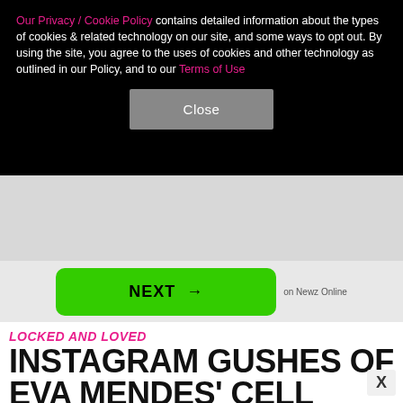Our Privacy / Cookie Policy contains detailed information about the types of cookies & related technology on our site, and some ways to opt out. By using the site, you agree to the uses of cookies and other technology as outlined in our Policy, and to our Terms of Use
Close
NEXT →  on Newz Online
LOCKED AND LOVED
INSTAGRAM GUSHES OF EVA MENDES' CELL PHONE GOSLING-INSPIRED